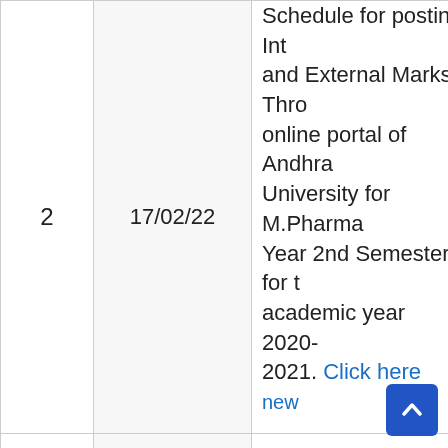| S.No | Date | Description |
| --- | --- | --- |
| 2 | 17/02/22 | Schedule for posting Internal and External Marks Through online portal of Andhra University for M.Pharma Year 2nd Semester for the academic year 2020-2021. Click here new |
| 3 | 15/02/22 | Schedule for posting Internal and External Marks Through online portal of Andhra University for Engineering and Professional Courses ODD Semesters 2021-2022. Click here new |
|  |  | Online Registration for One-Time Conduct of Sp... |